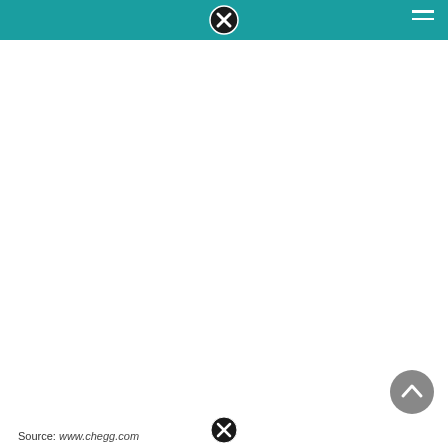Chegg website header with navigation
[Figure (screenshot): Teal/turquoise header bar of the Chegg website with a circular close/X button centered at top and a hamburger menu icon at the top right.]
[Figure (other): Scroll-to-top circular button (grey, with upward chevron arrow) positioned at bottom right of the page.]
[Figure (other): Small circular close/X button at the bottom center of the page.]
Source: www.chegg.com